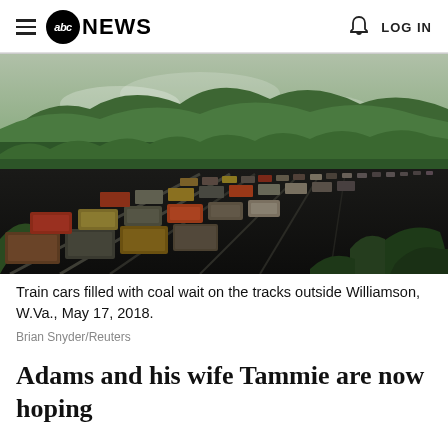abc NEWS  LOG IN
[Figure (photo): Aerial view of train cars filled with coal waiting on tracks outside Williamson, W.Va., surrounded by green forested hills, May 17, 2018.]
Train cars filled with coal wait on the tracks outside Williamson, W.Va., May 17, 2018.
Brian Snyder/Reuters
Adams and his wife Tammie are now hoping